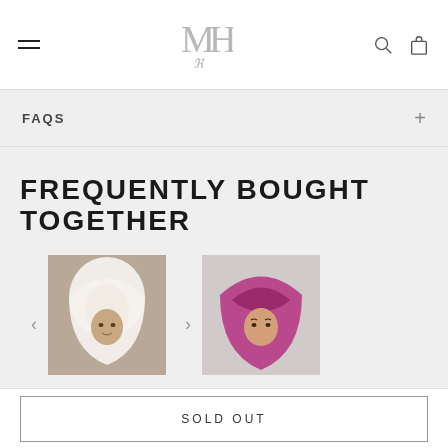MH logo with hamburger menu, search icon, and cart icon
FAQS
FREQUENTLY BOUGHT TOGETHER
[Figure (photo): Product photo of a white hijab worn by a child/young girl]
[Figure (photo): Product photo of a pink/magenta hijab worn by a woman]
SOLD OUT